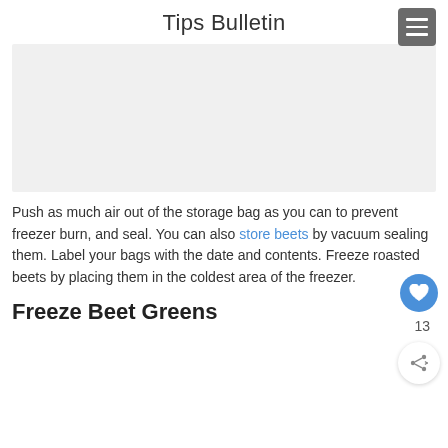Tips Bulletin
[Figure (other): Gray placeholder image box]
Push as much air out of the storage bag as you can to prevent freezer burn, and seal. You can also store beets by vacuum sealing them. Label your bags with the date and contents. Freeze roasted beets by placing them in the coldest area of the freezer.
Freeze Beet Greens